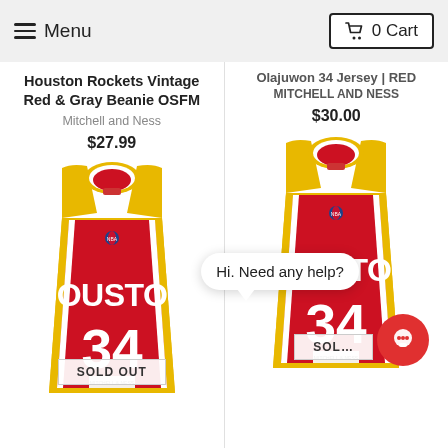≡ Menu | 🛒 0 Cart
Houston Rockets Vintage Red & Gray Beanie OSFM
Mitchell and Ness
$27.99
Olajuwon 34 Jersey | RED
MITCHELL AND NESS
$30.00
[Figure (photo): Red Houston Rockets #34 basketball jersey (Mitchell & Ness) with gold trim, showing HOUSTON on front and number 34, labeled SOLD OUT]
[Figure (photo): Red Houston Rockets #34 basketball jersey (Mitchell & Ness) with gold trim, showing HOUSTON on front and number 34, partially covered by chat bubble and chat icon]
Hi. Need any help?